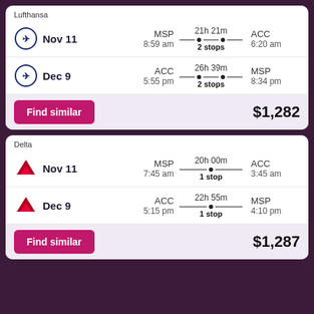Lufthansa
Nov 11 | MSP 8:59 am | 21h 21m 2 stops | ACC 6:20 am
Dec 9 | ACC 5:55 pm | 26h 39m 2 stops | MSP 8:34 pm
Find similar | $1,282
Delta
Nov 11 | MSP 7:45 am | 20h 00m 1 stop | ACC 3:45 am
Dec 9 | ACC 5:15 pm | 22h 55m 1 stop | MSP 4:10 pm
Find similar | $1,287